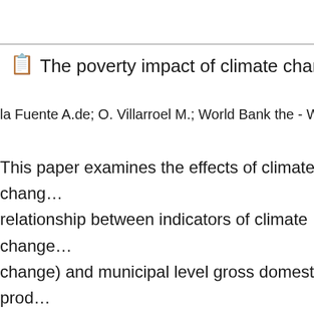The poverty impact of climate change...
la Fuente A.de; O. Villarroel M.; World Bank the - Wor...
This paper examines the effects of climate change relationship between indicators of climate change (change) and municipal level gross domestic product between gross domestic product and poverty. The climate change could have a negative impact on proposes a two-stage least squares regression w temperature and rainfall (along with geographic fixed effects) on municipal gross domestic product 2005 The result.